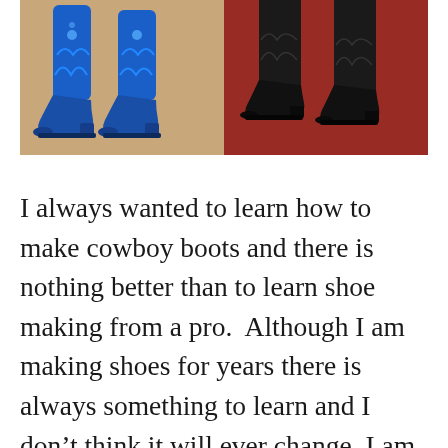[Figure (photo): Two-panel photo: left panel shows blue cowboy boots on a tan/beige background; right panel shows black cowboy boots on a red/burgundy carpet background.]
I always wanted to learn how to make cowboy boots and there is nothing better than to learn shoe making from a pro.  Although I am making shoes for years there is always something to learn and I don't think it will ever change. I am super excited about today's post, and I know you will be too when you'll see all the gold and diamonds. Today I have an awesome interview with you that I did with